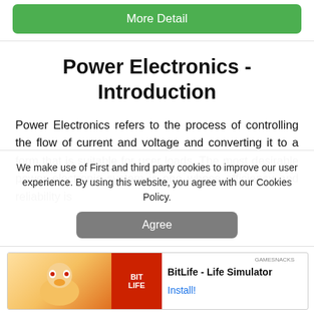[Figure (other): Green 'More Detail' button at the top of the page]
Power Electronics - Introduction
Power Electronics refers to the process of controlling the flow of current and voltage and converting it to a form that is suitable for user loads. The most desirable power electronic system is one whose efficiency and reliability is
We make use of First and third party cookies to improve our user experience. By using this website, you agree with our Cookies Policy.
[Figure (other): Grey 'Agree' button for cookie consent]
[Figure (other): Advertisement banner for BitLife - Life Simulator app with Install button]